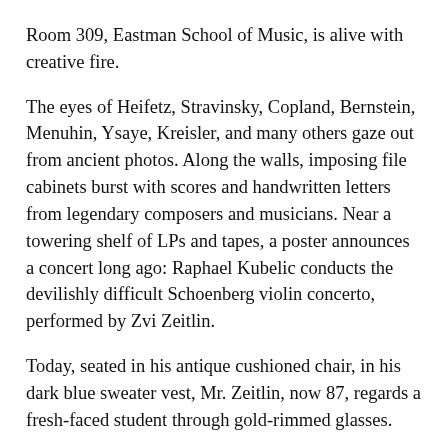Room 309, Eastman School of Music, is alive with creative fire.
The eyes of Heifetz, Stravinsky, Copland, Bernstein, Menuhin, Ysaye, Kreisler, and many others gaze out from ancient photos. Along the walls, imposing file cabinets burst with scores and handwritten letters from legendary composers and musicians. Near a towering shelf of LPs and tapes, a poster announces a concert long ago: Raphael Kubelic conducts the devilishly difficult Schoenberg violin concerto, performed by Zvi Zeitlin.
Today, seated in his antique cushioned chair, in his dark blue sweater vest, Mr. Zeitlin, now 87, regards a fresh-faced student through gold-rimmed glasses.
“What do you have for me?”
The young man hangs on Zeitlin’s every word, carefully thought through and expressed, as if notes in a symphony. He has seen Zeitlin walking slowly through the halls, smiling and acknowledging talks about his story. But now he is at the...